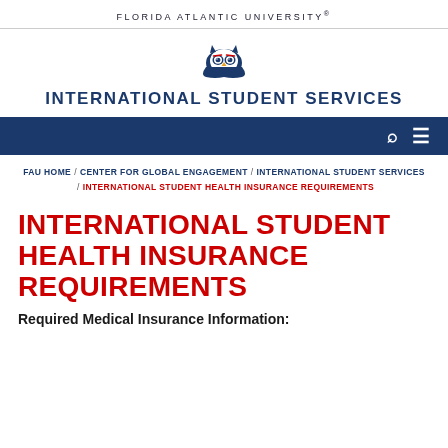FLORIDA ATLANTIC UNIVERSITY®
[Figure (logo): Florida Atlantic University owl mascot logo]
INTERNATIONAL STUDENT SERVICES
FAU HOME / CENTER FOR GLOBAL ENGAGEMENT / INTERNATIONAL STUDENT SERVICES / INTERNATIONAL STUDENT HEALTH INSURANCE REQUIREMENTS
INTERNATIONAL STUDENT HEALTH INSURANCE REQUIREMENTS
Required Medical Insurance Information: